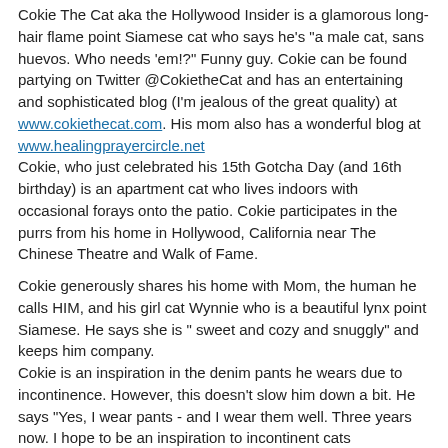Cokie The Cat aka the Hollywood Insider is a glamorous long-hair flame point Siamese cat who says he's "a male cat, sans huevos. Who needs 'em!?" Funny guy. Cokie can be found partying on Twitter @CokietheCat and has an entertaining and sophisticated blog (I'm jealous of the great quality) at www.cokiethecat.com. His mom also has a wonderful blog at www.healingprayercircle.net
Cokie, who just celebrated his 15th Gotcha Day (and 16th birthday) is an apartment cat who lives indoors with occasional forays onto the patio. Cokie participates in the purrs from his home in Hollywood, California near The Chinese Theatre and Walk of Fame.
Cokie generously shares his home with Mom, the human he calls HIM, and his girl cat Wynnie who is a beautiful lynx point Siamese. He says she is " sweet and cozy and snuggly" and keeps him company.
Cokie is an inspiration in the denim pants he wears due to incontinence. However, this doesn't slow him down a bit. He says "Yes, I wear pants - and I wear them well. Three years now. I hope to be an inspiration to incontinent cats everywhere. Incontinent cats unite!!"
His mom found Cokie at the Volunteers of Burbank Animal Shelter. She walked down the row of cages until she heard him meeooowwww at her. When his mom walked to his cage he reached out and touched her nose with his giant furry paw and left it there. Instant love was the result. But Cokie wasn't available for another week and they wouldn't allow her to reserve him and said lots of people were interested. I should note here that at this point the Shelter thought he was a female cat so his mom initially decided to name him Anna. MOL. They finally discovered the